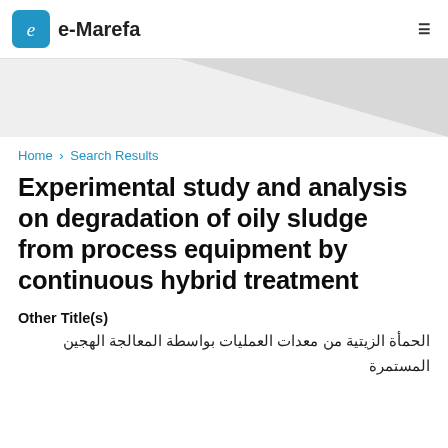e-Marefa
[Figure (other): Decorative grey triangle background in hero/banner section]
Home › Search Results
Experimental study and analysis on degradation of oily sludge from process equipment by continuous hybrid treatment
Other Title(s)
الحمأة الزيتية من معدات العمليات بواسطة المعالجة الهجين المستمرة